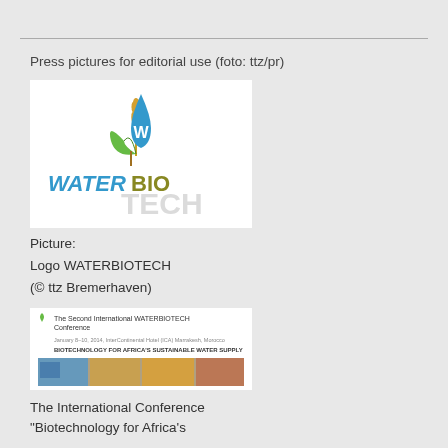Press pictures for editorial use (foto: ttz/pr)
[Figure (logo): WATERBIOTECH logo with water drop, wheat, and green leaf, text 'WATERBIOTECH' in blue and green]
Picture:
Logo WATERBIOTECH
(© ttz Bremerhaven)
[Figure (screenshot): The Second International WATERBIOTECH Conference banner with text 'BIOTECHNOLOGY FOR AFRICA'S SUSTAINABLE WATER SUPPLY' and photos of African landscapes and markets]
The International Conference "Biotechnology for Africa's